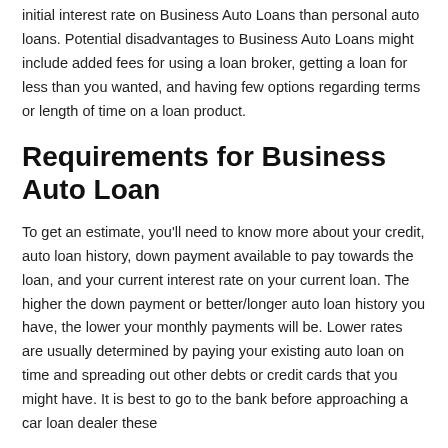initial interest rate on Business Auto Loans than personal auto loans. Potential disadvantages to Business Auto Loans might include added fees for using a loan broker, getting a loan for less than you wanted, and having few options regarding terms or length of time on a loan product.
Requirements for Business Auto Loan
To get an estimate, you'll need to know more about your credit, auto loan history, down payment available to pay towards the loan, and your current interest rate on your current loan. The higher the down payment or better/longer auto loan history you have, the lower your monthly payments will be. Lower rates are usually determined by paying your existing auto loan on time and spreading out other debts or credit cards that you might have. It is best to go to the bank before approaching a car loan dealer these